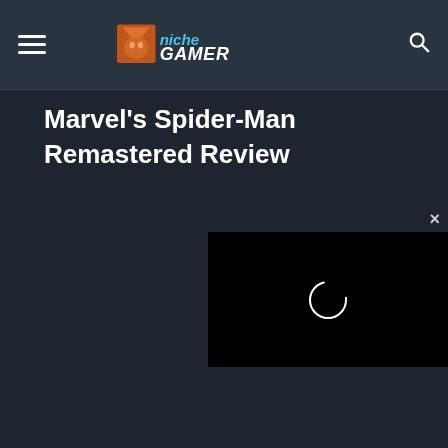Niche Gamer
Marvel's Spider-Man Remastered Review
[Figure (screenshot): Video player loading spinner on black background with close (x) button above]